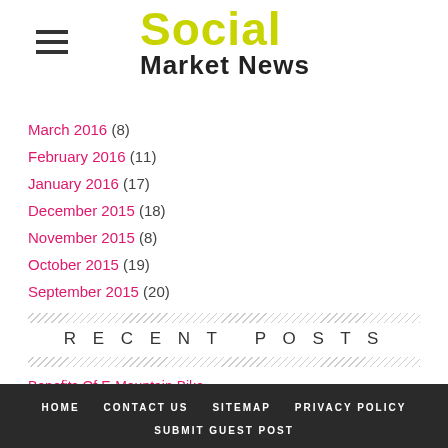Social Market News
March 2016 (8)
February 2016 (11)
January 2016 (17)
December 2015 (18)
November 2015 (8)
October 2015 (19)
September 2015 (20)
RECENT POSTS
Benefits Of E-Mountain Bike
Install Gates And Increase Your Security And Privacy
IMEI (International Mobile Equipment Identity)
Importance of Folded Cartons in Packaging: Get the Best Information Here
Ready for love? What You Need To Know And Do To Find a Life Partner
HOME   CONTACT US   SITEMAP   PRIVACY POLICY   SUBMIT GUEST POST